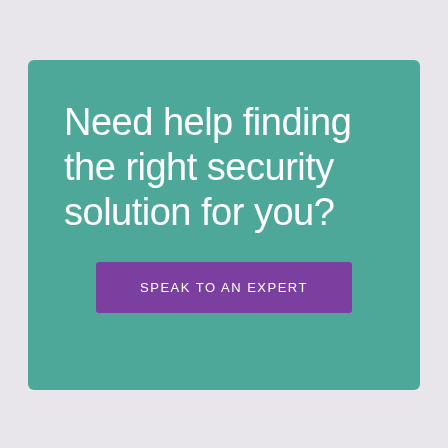Need help finding the right security solution for you?
Speak to an expert